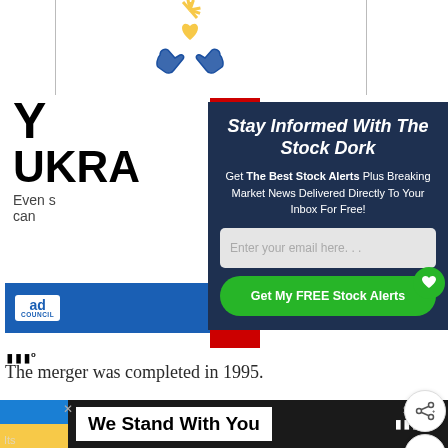[Figure (illustration): Hands icon with sunburst, Ukraine support imagery at top of page]
Y
UKRA
Even s
can
[Figure (logo): Ad Council logo badge (blue background, white 'ad' text)]
[Figure (infographic): Red side strip with right-pointing chevron arrow]
Stay Informed With The Stock Dork
Get The Best Stock Alerts Plus Breaking Market News Delivered Directly To Your Inbox For Free!
Enter your email here. . .
Get My FREE Stock Alerts
1
The merger was completed in 1995.
[Figure (infographic): Ukraine flag colors (blue and yellow) with 'We Stand With You' text, bottom banner ad]
We Stand With You